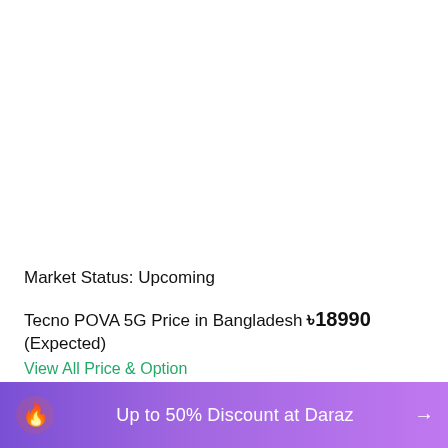Market Status: Upcoming
Tecno POVA 5G Price in Bangladesh ৳18990 (Expected)
View All Price & Option
Up to 50% Discount at Daraz →